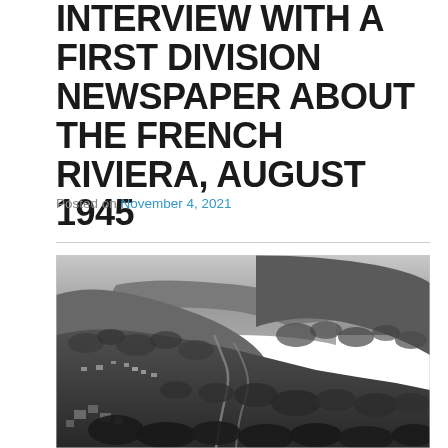INTERVIEW WITH A FIRST DIVISION NEWSPAPER ABOUT THE FRENCH RIVIERA, AUGUST 1945
Posted on November 4, 2021
[Figure (photo): Black and white aerial/elevated photograph of a hillside town on the French Riviera, showing densely wooded hills, winding roads, buildings, and a coastal bay in the background.]